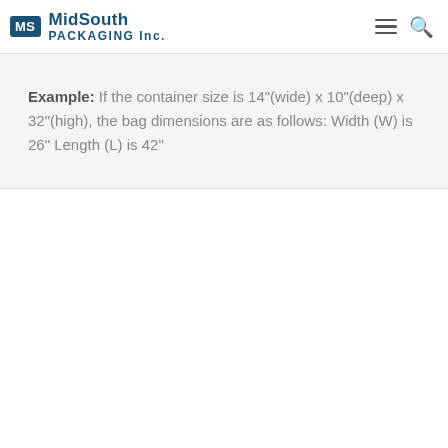MidSouth PACKAGING Inc.
Example: If the container size is 14"(wide) x 10"(deep) x 32"(high), the bag dimensions are as follows: Width (W) is 26" Length (L) is 42"